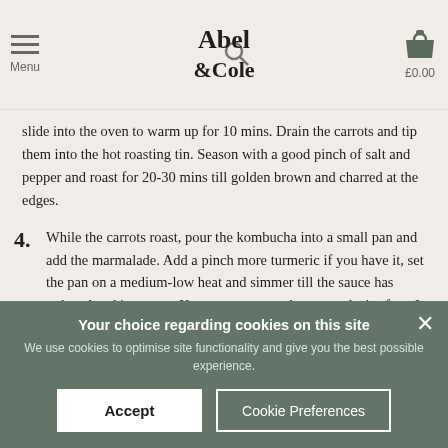Abel & Cole — Menu | £0.00
slide into the oven to warm up for 10 mins. Drain the carrots and tip them into the hot roasting tin. Season with a good pinch of salt and pepper and roast for 20-30 mins till golden brown and charred at the edges.
4. While the carrots roast, pour the kombucha into a small pan and add the marmalade. Add a pinch more turmeric if you have it, set the pan on a medium-low heat and simmer till the sauce has reduced and is syrupy. Keep your eye on the pan and stir often. It will stay liquid for a while, then quickly reduce to make a sticky sauce. Take off the heat.
Your choice regarding cookies on this site
We use cookies to optimise site functionality and give you the best possible experience.
Accept | Cookie Preferences